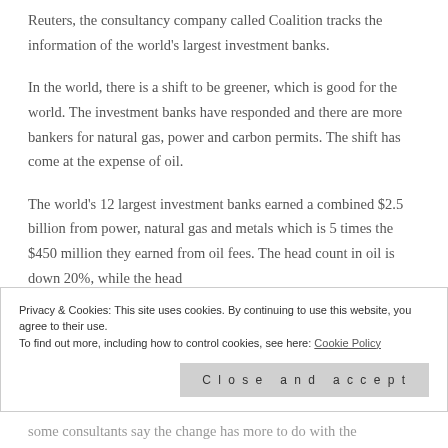Reuters, the consultancy company called Coalition tracks the information of the world's largest investment banks.
In the world, there is a shift to be greener, which is good for the world. The investment banks have responded and there are more bankers for natural gas, power and carbon permits. The shift has come at the expense of oil.
The world's 12 largest investment banks earned a combined $2.5 billion from power, natural gas and metals which is 5 times the $450 million they earned from oil fees. The head count in oil is down 20%, while the head
Privacy & Cookies: This site uses cookies. By continuing to use this website, you agree to their use.
To find out more, including how to control cookies, see here: Cookie Policy
Close and accept
some consultants say the change has more to do with the